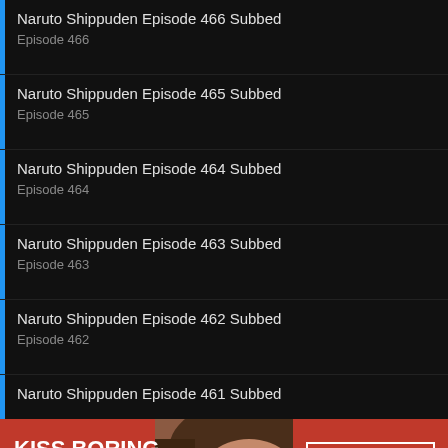Naruto Shippuden Episode 466 Subbed
Episode 466
Naruto Shippuden Episode 465 Subbed
Episode 465
Naruto Shippuden Episode 464 Subbed
Episode 464
Naruto Shippuden Episode 463 Subbed
Episode 463
Naruto Shippuden Episode 462 Subbed
Episode 462
Naruto Shippuden Episode 461 Subbed
[Figure (photo): Advertisement banner: red background with woman's face wearing red lipstick. Text reads 'KISS BORING LIPS GOODBYE' on left, 'SHOP NOW' button and Macy's star logo on right.]